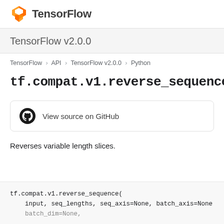TensorFlow
TensorFlow v2.0.0
TensorFlow > API > TensorFlow v2.0.0 > Python
tf.compat.v1.reverse_sequence
[Figure (logo): GitHub logo with text: View source on GitHub]
Reverses variable length slices.
tf.compat.v1.reverse_sequence(
    input, seq_lengths, seq_axis=None, batch_axis=None
    batch_dim=None,